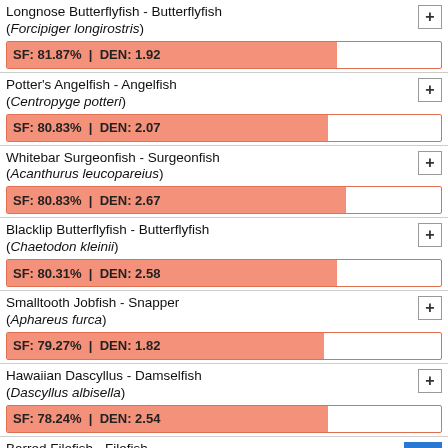Longnose Butterflyfish - Butterflyfish (Forcipiger longirostris) SF: 81.87% | DEN: 1.92
Potter's Angelfish - Angelfish (Centropyge potteri) SF: 80.83% | DEN: 2.07
Whitebar Surgeonfish - Surgeonfish (Acanthurus leucopareius) SF: 80.83% | DEN: 2.67
Blacklip Butterflyfish - Butterflyfish (Chaetodon kleinii) SF: 80.31% | DEN: 2.58
Smalltooth Jobfish - Snapper (Aphareus furca) SF: 79.27% | DEN: 1.82
Hawaiian Dascyllus - Damselfish (Dascyllus albisella) SF: 78.24% | DEN: 2.54
Barred Filefish - Filefish (Cantherhines dumerili) SF: 77.72% | DEN: 1.77